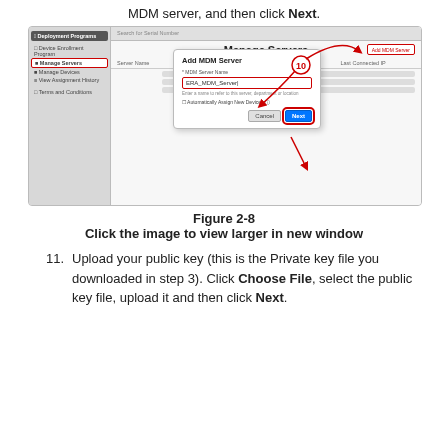MDM server, and then click Next.
[Figure (screenshot): Apple Deployment Programs interface showing Manage Servers page with Add MDM Server dialog open. The dialog has a text field with 'ERA_MDM_Server' entered, Cancel and Next buttons. Red arrows annotate the Add MDM Server button, a number badge, and the Next button. The server name field is highlighted with a red border.]
Figure 2-8
Click the image to view larger in new window
11. Upload your public key (this is the Private key file you downloaded in step 3). Click Choose File, select the public key file, upload it and then click Next.